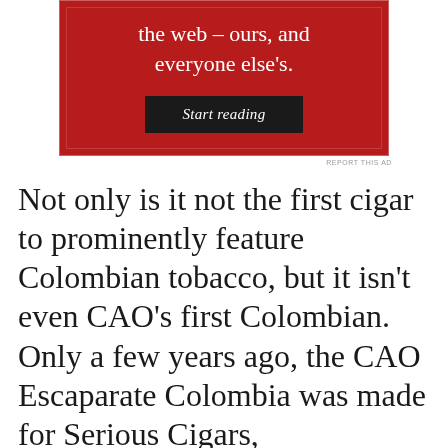[Figure (screenshot): Red advertisement banner with white serif text reading 'the web – ours, and everyone else's.' and a dark 'Start reading' button]
REPORT THIS AD
Not only is it not the first cigar to prominently feature Colombian tobacco, but it isn't even CAO's first Colombian. Only a few years ago, the CAO Escaparate Colombia was made for Serious Cigars,